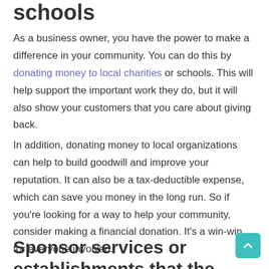schools
As a business owner, you have the power to make a difference in your community. You can do this by donating money to local charities or schools. This will help support the important work they do, but it will also show your customers that you care about giving back.
In addition, donating money to local organizations can help to build goodwill and improve your reputation. It can also be a tax-deductible expense, which can save you money in the long run. So if you're looking for a way to help your community, consider making a financial donation. It's a win-win for everyone involved.
Sponsor services or establishments that the community needs